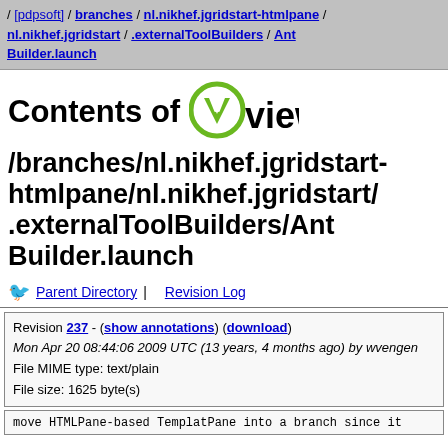/ [pdpsoft] / branches / nl.nikhef.jgridstart-htmlpane / nl.nikhef.jgridstart / .externalToolBuilders / AntBuilder.launch
[Figure (logo): ViewVC logo with green V icon and 'viewvc' text]
/branches/nl.nikhef.jgridstart-htmlpane/nl.nikhef.jgridstart/.externalToolBuilders/AntBuilder.launch
Parent Directory | Revision Log
| Revision 237 - (show annotations) (download) |
| Mon Apr 20 08:44:06 2009 UTC (13 years, 4 months ago) by wvengen |
| File MIME type: text/plain |
| File size: 1625 byte(s) |
move HTMLPane-based TemplatPane into a branch since it